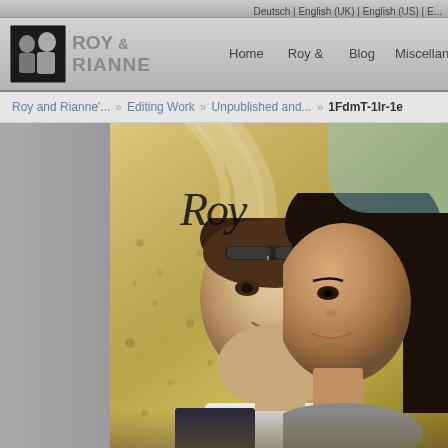Deutsch | English (UK) | English (US) | E...
[Figure (logo): Roy & Rianne logo with couple photo thumbnail]
Home   Roy & Rianne Pages ▾   Blog ▾   Miscellany
Roy and Rianne'... » Editing Work » Unpublished and... » 1FdmT-1lr-1e
[Figure (photo): Decorative photo showing a man and woman couple, with golden/antique background and 'ROY' calligraphy text overlaid in cursive script]